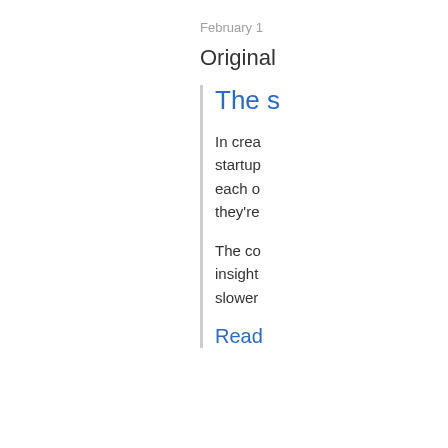February 1
Original
The s
In crea startup each o they're
The co insight slower
Read